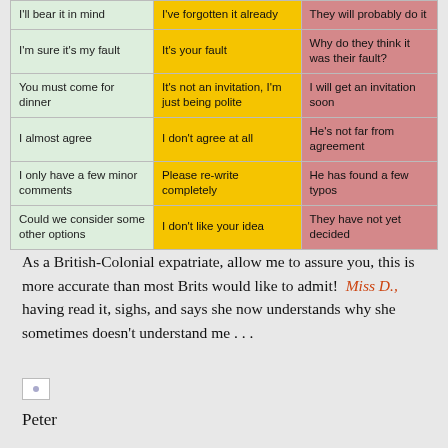| What they say | What they mean | What foreigners understand |
| --- | --- | --- |
| I'll bear it in mind | I've forgotten it already | They will probably do it |
| I'm sure it's my fault | It's your fault | Why do they think it was their fault? |
| You must come for dinner | It's not an invitation, I'm just being polite | I will get an invitation soon |
| I almost agree | I don't agree at all | He's not far from agreement |
| I only have a few minor comments | Please re-write completely | He has found a few typos |
| Could we consider some other options | I don't like your idea | They have not yet decided |
As a British-Colonial expatriate, allow me to assure you, this is more accurate than most Brits would like to admit!  Miss D., having read it, sighs, and says she now understands why she sometimes doesn't understand me . . .
Peter